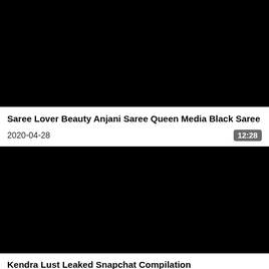[Figure (screenshot): Black video thumbnail for first video]
Saree Lover Beauty Anjani Saree Queen Media Black Saree
2020-04-28
12:28
[Figure (screenshot): Black video thumbnail for second video]
Kendra Lust Leaked Snapchat Compilation